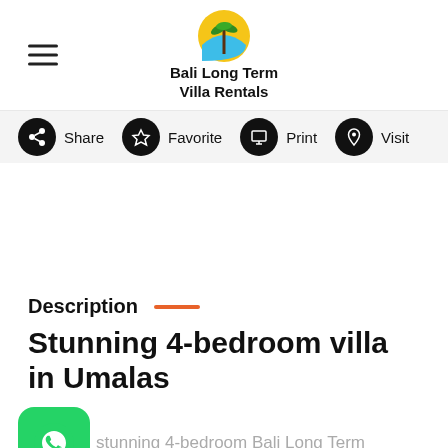Bali Long Term Villa Rentals
Share   Favorite   Print   Visit
Description
Stunning 4-bedroom villa in Umalas
stunning 4-bedroom Bali Long Term